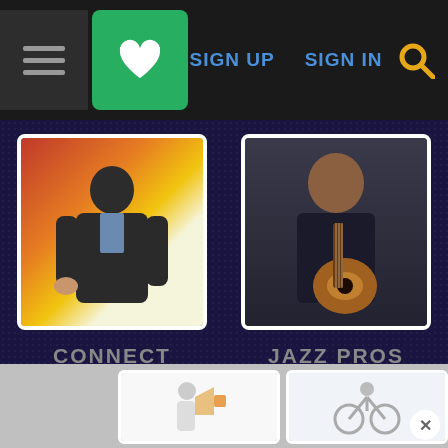Navigation header with hamburger menu, heart/favorites button, SIGN UP, SIGN IN links, and search icon
[Figure (screenshot): Photo of a young man in a leather jacket with yellow/red background, pointing at camera]
CONNECT
Welcome!
Getting Started
Staff Directory
Contact Us
FAQ
[Figure (photo): Photo of a bald man playing an acoustic guitar against a dark background]
JAZZ PROS
Musician Primer
Musician Toolkit
Gig Finder
Musician Finder
Publicist's Guide
[Figure (photo): Partial view of bottom strip showing two additional photo thumbnails and a close (X) button]